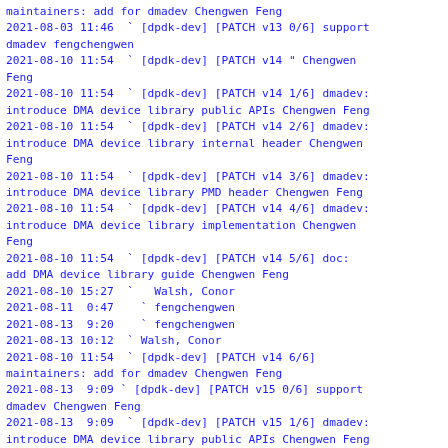maintainers: add for dmadev Chengwen Feng
2021-08-03 11:46  ` [dpdk-dev] [PATCH v13 0/6] support dmadev fengchengwen
2021-08-10 11:54  ` [dpdk-dev] [PATCH v14 " Chengwen Feng
2021-08-10 11:54  ` [dpdk-dev] [PATCH v14 1/6] dmadev: introduce DMA device library public APIs Chengwen Feng
2021-08-10 11:54  ` [dpdk-dev] [PATCH v14 2/6] dmadev: introduce DMA device library internal header Chengwen Feng
2021-08-10 11:54  ` [dpdk-dev] [PATCH v14 3/6] dmadev: introduce DMA device library PMD header Chengwen Feng
2021-08-10 11:54  ` [dpdk-dev] [PATCH v14 4/6] dmadev: introduce DMA device library implementation Chengwen Feng
2021-08-10 11:54  ` [dpdk-dev] [PATCH v14 5/6] doc: add DMA device library guide Chengwen Feng
2021-08-10 15:27  `   Walsh, Conor
2021-08-11  0:47    ` fengchengwen
2021-08-13  9:20    ` fengchengwen
2021-08-13 10:12    ` Walsh, Conor
2021-08-10 11:54  ` [dpdk-dev] [PATCH v14 6/6] maintainers: add for dmadev Chengwen Feng
2021-08-13  9:09 ` [dpdk-dev] [PATCH v15 0/6] support dmadev Chengwen Feng
2021-08-13  9:09  ` [dpdk-dev] [PATCH v15 1/6] dmadev: introduce DMA device library public APIs Chengwen Feng
2021-08-19 14:52  ` Bruce Richardson
2021-08-23  3:43    ` fengchengwen
2021-08-13  9:09  ` [dpdk-dev] [PATCH v15 2/6] dmadev: